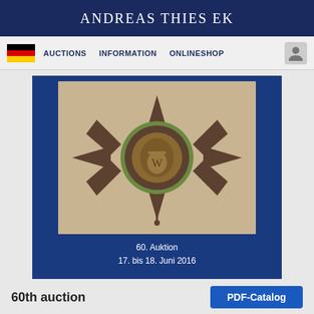ANDREAS THIES EK
[Figure (screenshot): Navigation bar with German flag, AUCTIONS, INFORMATION, ONLINESHOP links and a user icon]
[Figure (photo): Auction catalog banner with dark blue background showing a military cross medal/decoration (star-shaped with royal crown motif) on a beige background. Text reads: 60. Auktion / 17. bis 18. Juni 2016]
60th auction
PDF-Catalog